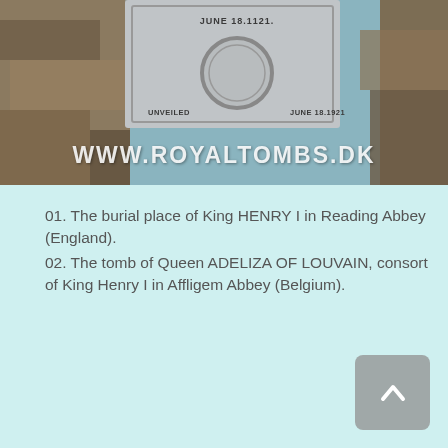[Figure (photo): Photo of a memorial plaque set among stone rubble. The plaque reads 'JUNE 18.1121' at the top and 'UNVEILED  JUNE 18.1921' at the bottom. A watermark reads 'WWW.ROYALTOMBS.DK' across the lower portion of the image.]
01. The burial place of King HENRY I in Reading Abbey (England).
02. The tomb of Queen ADELIZA OF LOUVAIN, consort of King Henry I in Affligem Abbey (Belgium).